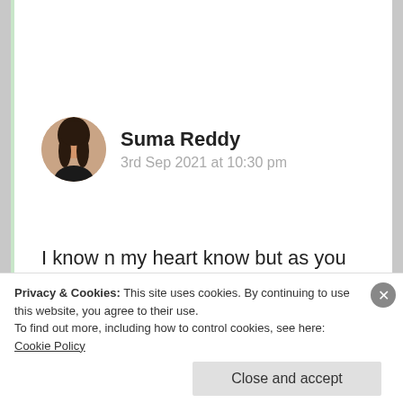[Figure (photo): Circular avatar photo of a woman with long dark hair]
Suma Reddy
3rd Sep 2021 at 10:30 pm
I know n my heart know but as you read my heart so you know why I call you as “the Queen of my heart” means a lot n beyond anything 😇🙏❤ no words my sweetest Queen. Greatful to you. Always Thanks ton with loads
Privacy & Cookies: This site uses cookies. By continuing to use this website, you agree to their use.
To find out more, including how to control cookies, see here: Cookie Policy
Close and accept